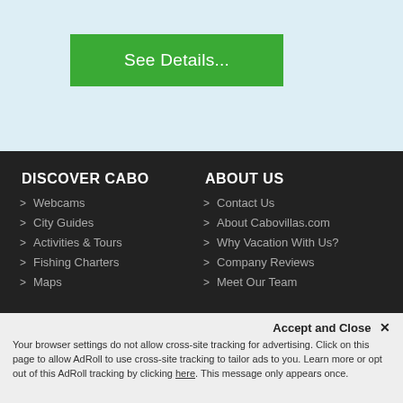See Details...
DISCOVER CABO
ABOUT US
Webcams
City Guides
Activities & Tours
Fishing Charters
Maps
Contact Us
About Cabovillas.com
Why Vacation With Us?
Company Reviews
Meet Our Team
Accept and Close ✕ Your browser settings do not allow cross-site tracking for advertising. Click on this page to allow AdRoll to use cross-site tracking to tailor ads to you. Learn more or opt out of this AdRoll tracking by clicking here. This message only appears once.